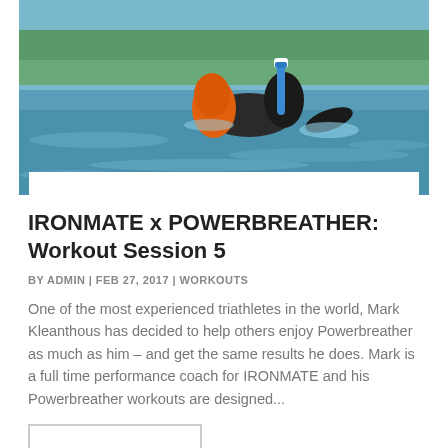[Figure (photo): Open water swimmer in a wetsuit using a Powerbreather snorkel device, swimming in a lake or open water, with greenery visible in the background]
IRONMATE x POWERBREATHER: Workout Session 5
BY ADMIN | FEB 27, 2017 | WORKOUTS
One of the most experienced triathletes in the world, Mark Kleanthous has decided to help others enjoy Powerbreather as much as him – and get the same results he does. Mark is a full time performance coach for IRONMATE and his Powerbreather workouts are designed...